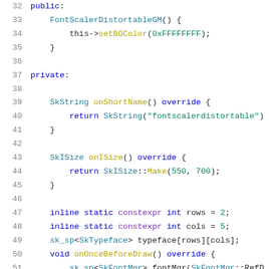[Figure (screenshot): Source code screenshot showing C++ class methods with syntax highlighting. Lines 32-52 visible. Shows public/private sections with FontScalerDistortableGM constructor, onShortName(), onISize() overrides, and member variable declarations.]